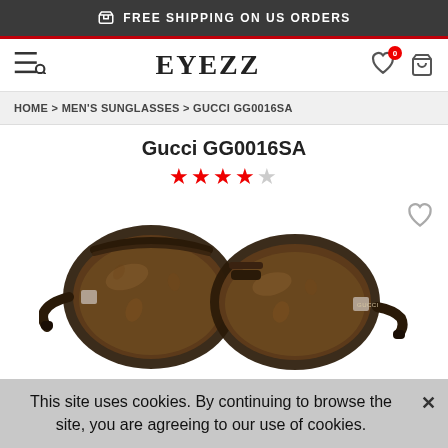FREE SHIPPING ON US ORDERS
EYEZZ
HOME > MEN'S SUNGLASSES > GUCCI GG0016SA
Gucci GG0016SA
[Figure (other): Star rating: 4 out of 5 stars (4 filled red stars, 1 empty star)]
[Figure (photo): Gucci GG0016SA aviator sunglasses with tortoiseshell frame and brown lenses, shown in side 3/4 view on white background]
This site uses cookies. By continuing to browse the site, you are agreeing to our use of cookies.